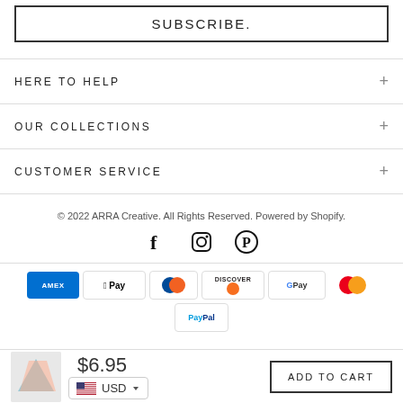SUBSCRIBE.
HERE TO HELP
OUR COLLECTIONS
CUSTOMER SERVICE
© 2022 ARRA Creative. All Rights Reserved. Powered by Shopify.
[Figure (infographic): Social media icons: Facebook, Instagram, Pinterest]
[Figure (infographic): Payment method badges: Amex, Apple Pay, Diners, Discover, Google Pay, Mastercard, PayPal]
$6.95
USD
ADD TO CART